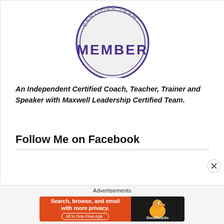[Figure (logo): Maxwell Leadership Certified Team badge/seal — circular badge with 'CERTIFIED TEAM' and 'MEMBER' text in purple, silver/grey background]
An Independent Certified Coach, Teacher, Trainer and Speaker with Maxwell Leadership Certified Team.
Follow Me on Facebook
[Figure (screenshot): DuckDuckGo advertisement banner: 'Search, browse, and email with more privacy. All in One Free App' on orange background with DuckDuckGo duck logo on dark background]